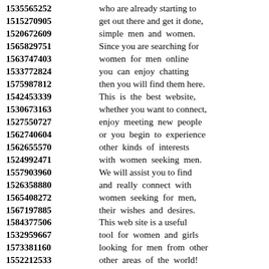1535565252 who are already starting to
1515270905 get out there and get it done,
1520672609 simple men and women.
1565829751 Since you are searching for
1563747403 women for men online
1533772824 you can enjoy chatting
1575987812 then you will find them here.
1542453339 This is the best website,
1530673163 whether you want to connect,
1527550727 enjoy meeting new people
1562740604 or you begin to experience
1562655570 other kinds of interests
1524992471 with women seeking men.
1557903960 We will assist you to find
1526358880 and really connect with
1565408272 women seeking for men,
1567197885 their wishes and desires.
1584377506 This web site is a useful
1532959667 tool for women and girls
1573381160 looking for men from other
1552212533 other areas of the world!
1530911851 Singles looking for love
1546405619 have different needs and different
1564389114 requirement such as the
1542647480 specific relationships and
1546340554 …